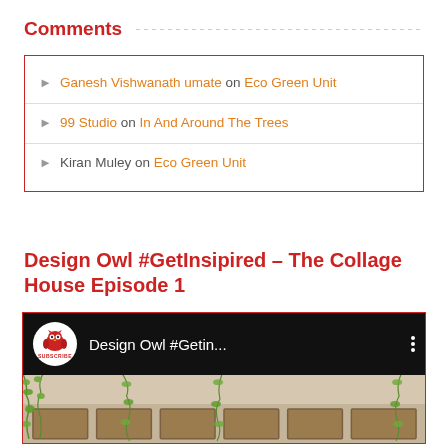Comments
Ganesh Vishwanath umate on Eco Green Unit
99 Studio on In And Around The Trees
Kiran Muley on Eco Green Unit
Design Owl #GetInsipired – The Collage House Episode 1
[Figure (screenshot): YouTube-style video embed showing Design Owl #Getin... with owl logo and subscribe button, thumbnail showing a building facade with climbing plants]